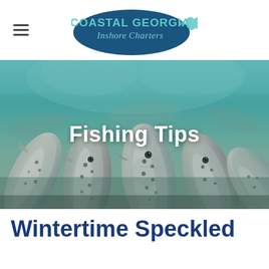Coastal Georgia Inshore Charters
[Figure (photo): Underwater photo of multiple speckled trout fish swimming together in teal/turquoise water, viewed from below with the fish bellies and sides visible, with text overlay 'Fishing Tips']
Fishing Tips
Wintertime Speckled